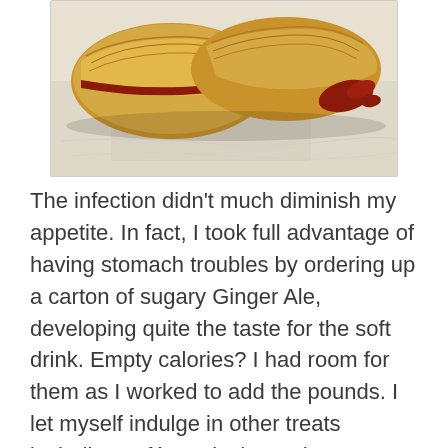[Figure (photo): A guava pastry (puff pastry filled with red guava jam) on white paper wrapping, photographed from above.]
The infection didn't much diminish my appetite. In fact, I took full advantage of having stomach troubles by ordering up a carton of sugary Ginger Ale, developing quite the taste for the soft drink. Empty calories? I had room for them as I worked to add the pounds. I let myself indulge in other treats including café con leche and guava pastries from our local Cuban bakery. And Häagen-Dazs, the Bronx-invented fake Danish-named high fat ice cream.
I began physical therapy at a place just five minutes up the road with a philosophy I can, and do, live with. It